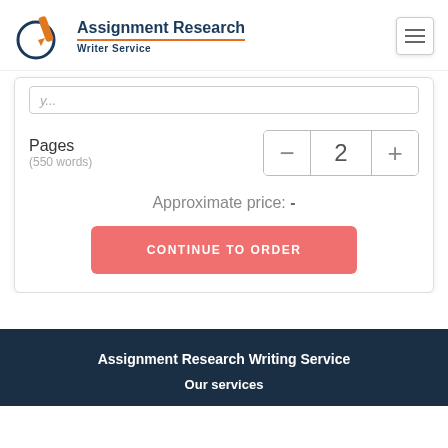[Figure (logo): Assignment Research Writer Service logo with pen icon]
Pages
(550 words)
Approximate price: -
CONTINUE TO ORDER
Assignment Research Writing Service
Our services